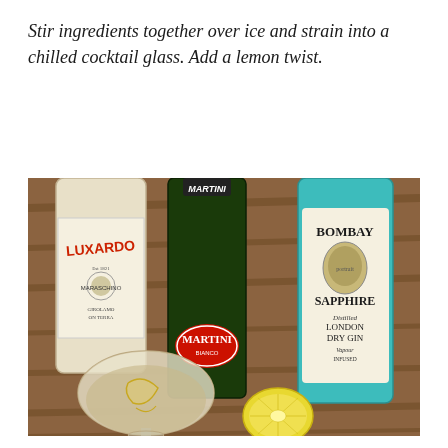Stir ingredients together over ice and strain into a chilled cocktail glass. Add a lemon twist.
[Figure (photo): Photo of cocktail ingredients on a wooden table: a Luxardo bottle (white label with red text), a Martini vermouth bottle (dark green with red oval Martini logo), a Bombay Sapphire London Dry Gin bottle (teal/blue), a cocktail glass with a pale drink and lemon twist inside, and a lemon half in the foreground.]